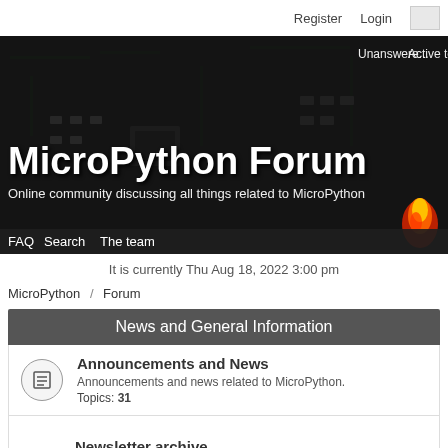Register  Login
[Figure (screenshot): MicroPython Forum hero banner with circuit board background, showing site title 'MicroPython Forum', subtitle 'Online community discussing all things related to MicroPython', navigation links FAQ, Search, The team, and top-right links Unanswere... and Active topics]
MicroPython Forum
Online community discussing all things related to MicroPython
It is currently Thu Aug 18, 2022 3:00 pm
MicroPython / Forum
News and General Information
Announcements and News
Announcements and news related to MicroPython.
Topics: 31
Newsletter archive